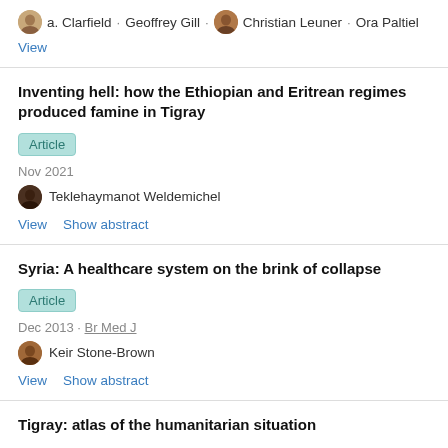a. Clarfield · Geoffrey Gill · Christian Leuner · Ora Paltiel
View
Inventing hell: how the Ethiopian and Eritrean regimes produced famine in Tigray
Article
Nov 2021
Teklehaymanot Weldemichel
View  Show abstract
Syria: A healthcare system on the brink of collapse
Article
Dec 2013 · Br Med J
Keir Stone-Brown
View  Show abstract
Tigray: atlas of the humanitarian situation